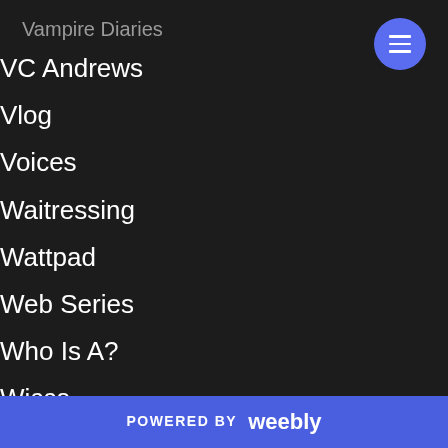Vampire Diaries
VC Andrews
Vlog
Voices
Waitressing
Wattpad
Web Series
Who Is A?
Wicca
Witches
Witch Week
POWERED BY weebly